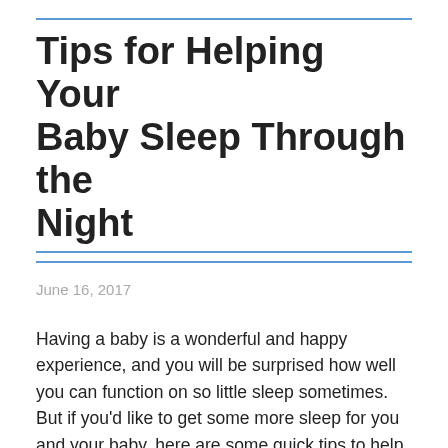Tips for Helping Your Baby Sleep Through the Night
June 16, 2017
Having a baby is a wonderful and happy experience, and you will be surprised how well you can function on so little sleep sometimes.  But if you'd like to get some more sleep for you and your baby, here are some quick tips to help your baby sleep through the night longer.
Often during the night your baby will startle themselves awake with jerking movements, so by swaddling your baby and wrapping them in a